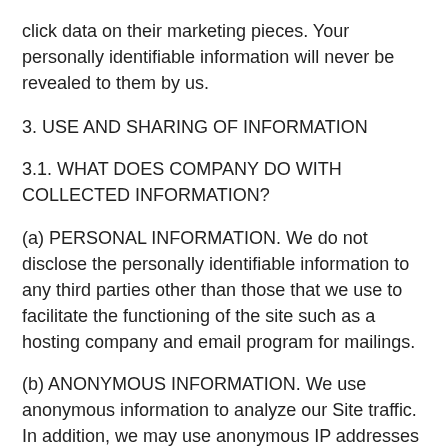click data on their marketing pieces. Your personally identifiable information will never be revealed to them by us.
3. USE AND SHARING OF INFORMATION
3.1. WHAT DOES COMPANY DO WITH COLLECTED INFORMATION?
(a) PERSONAL INFORMATION. We do not disclose the personally identifiable information to any third parties other than those that we use to facilitate the functioning of the site such as a hosting company and email program for mailings.
(b) ANONYMOUS INFORMATION. We use anonymous information to analyze our Site traffic. In addition, we may use anonymous IP addresses to help diagnose problems